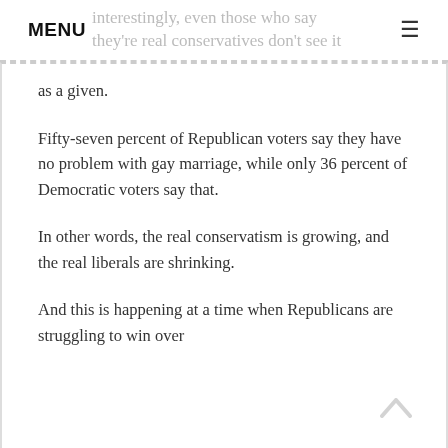MENU interestingly, even those who say they're real conservatives don't see it
as a given.
Fifty-seven percent of Republican voters say they have no problem with gay marriage, while only 36 percent of Democratic voters say that.
In other words, the real conservatism is growing, and the real liberals are shrinking.
And this is happening at a time when Republicans are struggling to win over